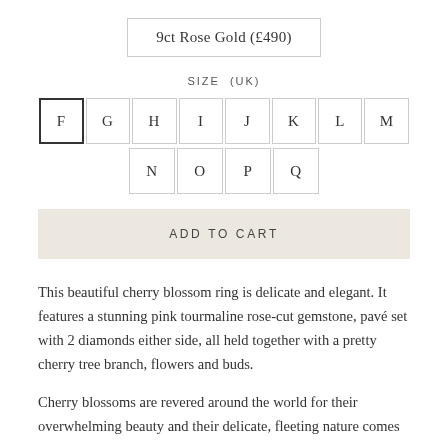9ct Rose Gold (£490)
SIZE (UK)
F  G  H  I  J  K  L  M  N  O  P  Q
ADD TO CART
This beautiful cherry blossom ring is delicate and elegant. It features a stunning pink tourmaline rose-cut gemstone, pavé set with 2 diamonds either side, all held together with a pretty cherry tree branch, flowers and buds.
Cherry blossoms are revered around the world for their overwhelming beauty and their delicate, fleeting nature comes...